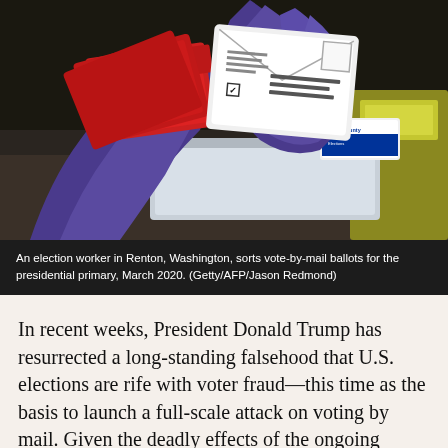[Figure (photo): An election worker wearing purple gloves handles red 'vote' envelopes and a ballot envelope in Renton, Washington. The worker is sorting vote-by-mail ballots. A King County badge/sign is visible in the background.]
An election worker in Renton, Washington, sorts vote-by-mail ballots for the presidential primary, March 2020. (Getty/AFP/Jason Redmond)
In recent weeks, President Donald Trump has resurrected a long-standing falsehood that U.S. elections are rife with voter fraud—this time as the basis to launch a full-scale attack on voting by mail. Given the deadly effects of the ongoing COVID-19 pandemic, it is vital that states give all voters an option to vote by mail so that they can safely exercise their